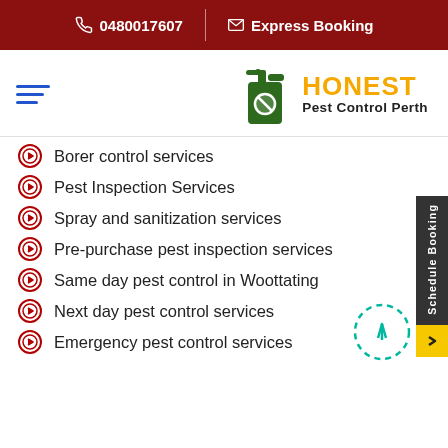0480017607   Express Booking
[Figure (logo): Honest Pest Control Perth logo with spray bottle icon, hamburger menu]
Borer control services
Pest Inspection Services
Spray and sanitization services
Pre-purchase pest inspection services
Same day pest control in Woottating
Next day pest control services
Emergency pest control services